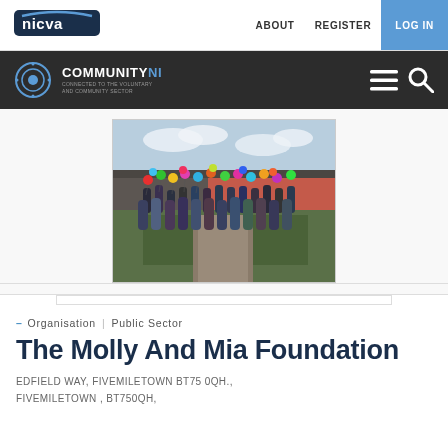nicva | ABOUT  REGISTER  LOG IN
COMMUNITY NI — Connected to the Voluntary and Community Sector
[Figure (photo): Crowd of people outdoors holding colorful balloons, standing along a garden path with a building in the background.]
– Organisation | Public Sector
The Molly And Mia Foundation
EDFIELD WAY, FIVEMILETOWN BT75 0QH., FIVEMILETOWN , BT750QH,